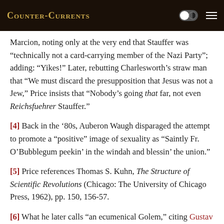Counter-Currents
Marcion, noting only at the very end that Stauffer was “technically not a card-carrying member of the Nazi Party”; adding: “Yikes!” Later, rebutting Charlesworth’s straw man that “We must discard the presupposition that Jesus was not a Jew,” Price insists that “Nobody’s going that far, not even Reichsfuehrer Stauffer.”
[4] Back in the ‘80s, Auberon Waugh disparaged the attempt to promote a “positive” image of sexuality as “Saintly Fr. O’Bubblegum peekin’ in the windah and blessin’ the union.”
[5] Price references Thomas S. Kuhn, The Structure of Scientific Revolutions (Chicago: The University of Chicago Press, 1962), pp. 150, 156-57.
[6] What he later calls “an ecumenical Golem,” citing Gustav Meyrink’s 1914 novel Der Golem, a favorite of